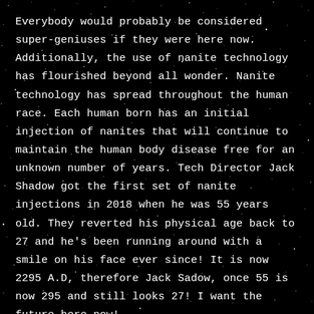Everybody would probably be considered super-geniuses if they were here now. Additionally, the use of nanite technology has flourished beyond all wonder. Nanite technology has spread throughout the human race. Each human born has an initial injection of nanites that will continue to maintain the human body disease free for an unknown number of years. Tech Director Jack Shadow got the first set of nanite injections in 2018 when he was 55 years old. They reverted his physical age back to 27 and he's been running around with a smile on his face ever since! It is now 2295 A.D, therefore Jack Sadow, once 55 is now 295 and still looks 27! I want the future here now!